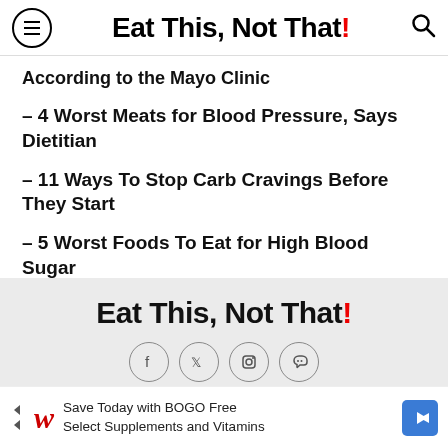Eat This, Not That!
According to the Mayo Clinic
– 4 Worst Meats for Blood Pressure, Says Dietitian
– 11 Ways To Stop Carb Cravings Before They Start
– 5 Worst Foods To Eat for High Blood Sugar
Eat This, Not That!
[Figure (infographic): Social media icon circles: Facebook, Twitter, Instagram, Pinterest]
[Figure (infographic): Walgreens advertisement banner: Save Today with BOGO Free Select Supplements and Vitamins]